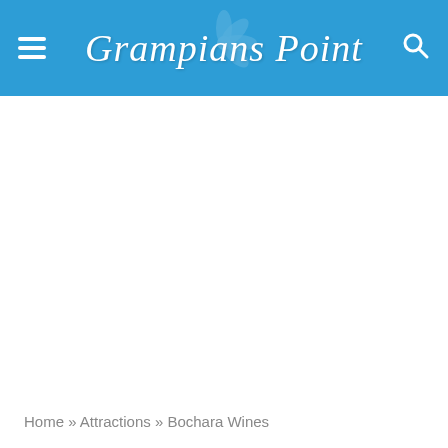Grampians Point
Home » Attractions » Bochara Wines